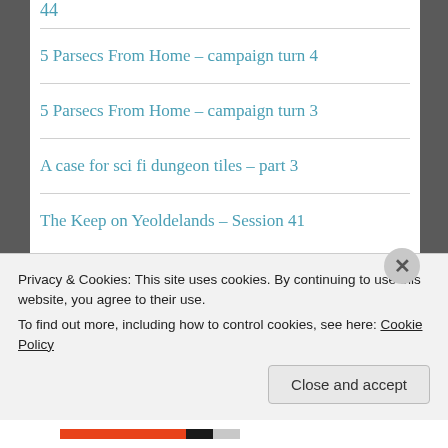44
5 Parsecs From Home – campaign turn 4
5 Parsecs From Home – campaign turn 3
A case for sci fi dungeon tiles – part 3
The Keep on Yeoldelands – Session 41
Top Posts
Privacy & Cookies: This site uses cookies. By continuing to use this website, you agree to their use.
To find out more, including how to control cookies, see here: Cookie Policy
Close and accept